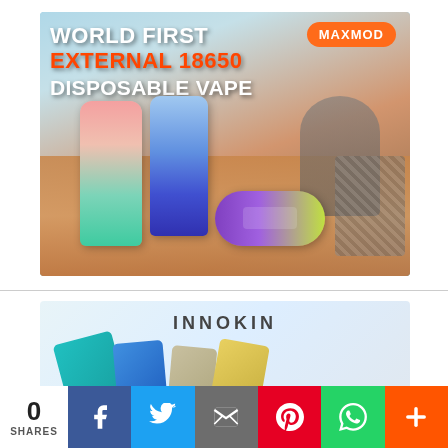[Figure (photo): Advertisement for MAXMOD – World First External 18650 Disposable Vape, showing colorful vape devices on a wooden surface]
[Figure (photo): Advertisement for Innokin brand, showing several small vape pod devices in teal, blue, beige, and gold colors]
0 SHARES
[Figure (infographic): Social share bar with Facebook, Twitter, Email, Pinterest, WhatsApp, and More buttons]